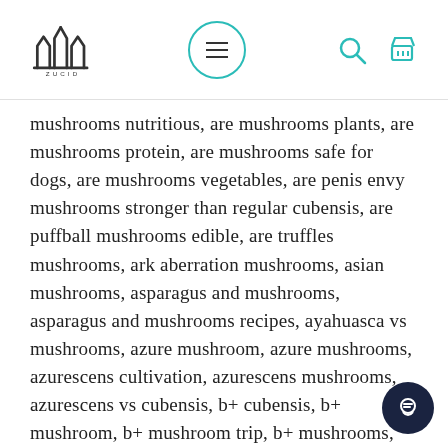Navigation header with logo, menu button, search and cart icons
mushrooms nutritious, are mushrooms plants, are mushrooms protein, are mushrooms safe for dogs, are mushrooms vegetables, are penis envy mushrooms stronger than regular cubensis, are puffball mushrooms edible, are truffles mushrooms, ark aberration mushrooms, asian mushrooms, asparagus and mushrooms, asparagus and mushrooms recipes, ayahuasca vs mushrooms, azure mushroom, azure mushrooms, azurescens cultivation, azurescens mushrooms, azurescens vs cubensis, b+ cubensis, b+ mushroom, b+ mushroom trip, b+ mushrooms, b+ shroom, b+ shrooms, b+ strain, b+ vs golden teacher, baby bella mushrooms, baby bella mushrooms nutrition, baby bella mushrooms recipe, baby portabella mushrooms, baby portabella mushrooms recipes, backyard mushrooms, bacon stuffed mushrooms, bacon wrapped mushrooms, bad mushrooms, bake mushrooms, baked breaded mushrooms, baked chicken mushrooms recipe, baked mushrooms, baked portobello mushrooms, baked stuffed mushrooms, baked stuffed portobello mushrooms recipe, baking mushrooms, balsamic mushrooms, balsamic portabella mushrooms, barbeque mushrooms, bats or mushrooms